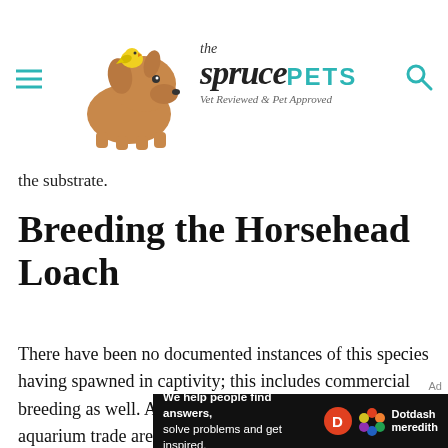the spruce PETS — Vet Reviewed & Pet Approved
the substrate.
Breeding the Horsehead Loach
There have been no documented instances of this species having spawned in captivity; this includes commercial breeding as well. All mens sold in the aquarium trade are wild- nt, but their populations in the wild remain st.
[Figure (logo): Spruce Pets logo with dog and bird illustration]
Ad
[Figure (infographic): Dotdash Meredith ad banner: We help people find answers, solve problems and get inspired.]